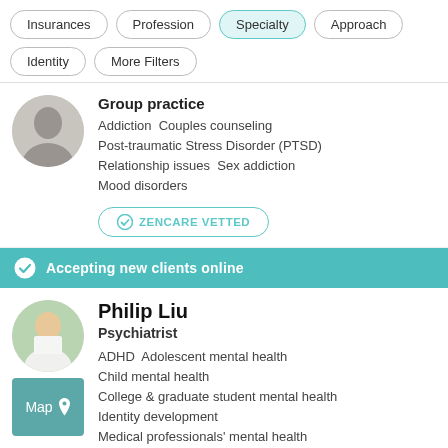Insurances
Profession
Specialty
Approach
Identity
More Filters
Group practice
Addiction  Couples counseling  Post-traumatic Stress Disorder (PTSD)  Relationship issues  Sex addiction  Mood disorders
ZENCARE VETTED
Accepting new clients online
Philip Liu
Psychiatrist
ADHD  Adolescent mental health  Child mental health  College & graduate student mental health  Identity development  Medical professionals' mental health
[Figure (photo): Circular profile photo of a person in casual dress]
[Figure (photo): Circular profile photo of Philip Liu, smiling, in white attire, with green background]
[Figure (map): Map thumbnail box with pin icon labeled Map]